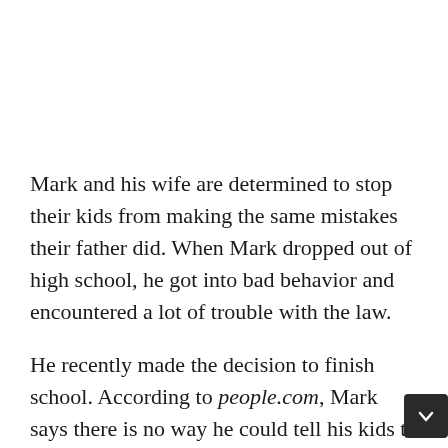Mark and his wife are determined to stop their kids from making the same mistakes their father did. When Mark dropped out of high school, he got into bad behavior and encountered a lot of trouble with the law.
He recently made the decision to finish school. According to people.com, Mark says there is no way he could tell his kids to go to school and get an education if he himself did not. Therefore, at 42, he enrolled online, completed his high school